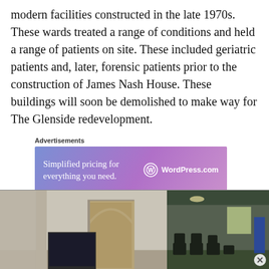modern facilities constructed in the late 1970s. These wards treated a range of conditions and held a range of patients on site. These included geriatric patients and, later, forensic patients prior to the construction of James Nash House. These buildings will soon be demolished to make way for The Glenside redevelopment.
[Figure (other): Advertisement banner for WordPress.com: 'Simplified pricing for everything you need.' with WordPress.com logo on a purple-pink gradient background. Labeled 'Advertisements' above.]
[Figure (photo): Two interior photographs of an old building (likely Glenside Hospital). Left photo shows a large ornate arched doorway/window in a white-walled room. Right photo shows a darker room interior with chairs visible.]